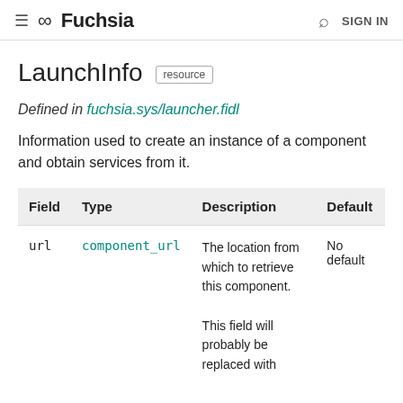Fuchsia   SIGN IN
LaunchInfo resource
Defined in fuchsia.sys/launcher.fidl
Information used to create an instance of a component and obtain services from it.
| Field | Type | Description | Default |
| --- | --- | --- | --- |
| url | component_url | The location from which to retrieve this component.

This field will probably be replaced with | No default |